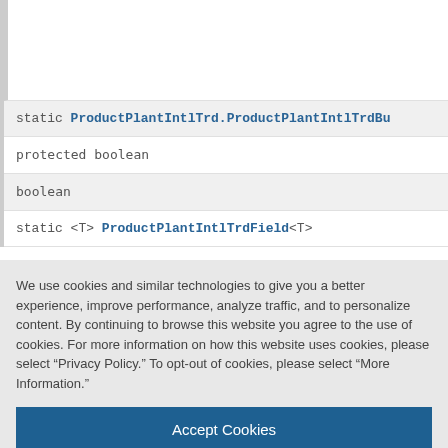static ProductPlantIntlTrd.ProductPlantIntlTrdBu...
protected boolean
boolean
static <T> ProductPlantIntlTrdField<T>
We use cookies and similar technologies to give you a better experience, improve performance, analyze traffic, and to personalize content. By continuing to browse this website you agree to the use of cookies. For more information on how this website uses cookies, please select “Privacy Policy.” To opt-out of cookies, please select “More Information.”
Accept Cookies
More Information
Privacy Policy | Powered by: TrustArc
protected String